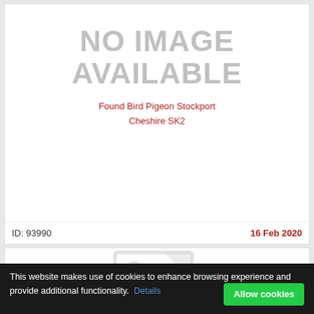[Figure (other): No image available placeholder for a found bird pigeon listing]
Found Bird Pigeon Stockport
Cheshire SK2
ID: 93990
16 Feb 2020
[Figure (other): Partial placeholder image icon for second listing]
This website makes use of cookies to enhance browsing experience and provide additional functionality. Details
Allow cookies